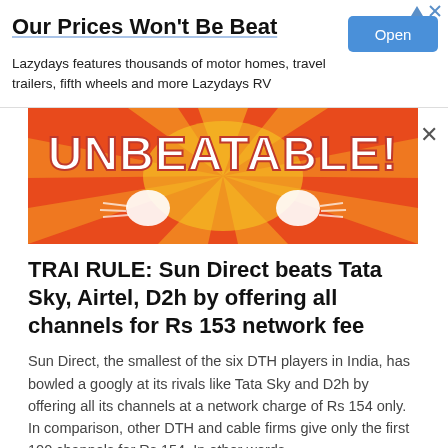[Figure (infographic): Advertisement banner: 'Our Prices Won't Be Beat' with Open button and Lazydays RV text]
[Figure (illustration): Colorful comic-style banner with orange/red background and bold white text 'UNBEATABLE!' with cartoon hands]
TRAI RULE: Sun Direct beats Tata Sky, Airtel, D2h by offering all channels for Rs 153 network fee
Sun Direct, the smallest of the six DTH players in India, has bowled a googly at its rivals like Tata Sky and D2h by offering all its channels at a network charge of Rs 154 only. In comparison, other DTH and cable firms give only the first 100 channels for Rs 154. In other words